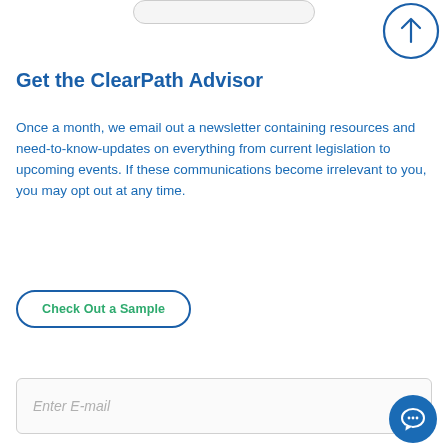[Figure (other): Partial rounded rectangle input bar at the top of the page, partially cropped]
[Figure (other): Blue outlined circle with upward arrow icon (scroll to top button) in the top right corner]
Get the ClearPath Advisor
Once a month, we email out a newsletter containing resources and need-to-know-updates on everything from current legislation to upcoming events. If these communications become irrelevant to you, you may opt out at any time.
[Figure (other): Button with blue rounded-rectangle border and green text 'Check Out a Sample']
Enter E-mail
[Figure (other): Solid blue circle chat bubble icon button in the bottom right corner]